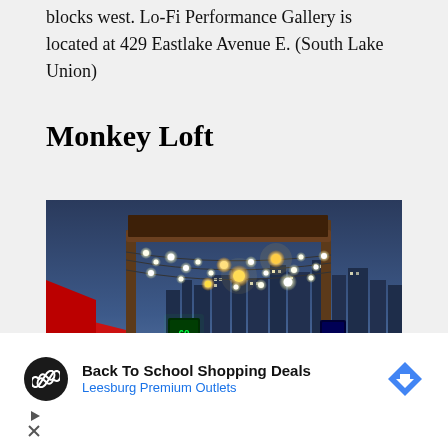blocks west. Lo-Fi Performance Gallery is located at 429 Eastlake Avenue E. (South Lake Union)
Monkey Loft
[Figure (photo): Night-time outdoor photo of Monkey Loft venue rooftop with string lights strung between wooden posts, a city skyline visible in the background, and colorful signage and lighting below.]
[Figure (infographic): Advertisement banner: Back To School Shopping Deals - Leesburg Premium Outlets, with a circular dark logo icon with a looping arrow symbol and a blue diamond navigation arrow icon on the right. Below are play and close control icons.]